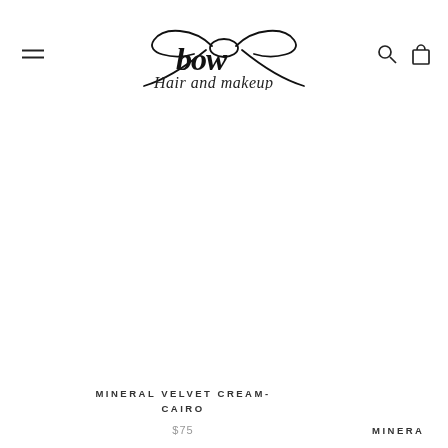bow Hair and makeup
[Figure (other): Bow Hair and Makeup logo with decorative bow illustration and cursive 'bow Hair and makeup' text]
MINERAL VELVET CREAM- CAIRO
$75
MINERA